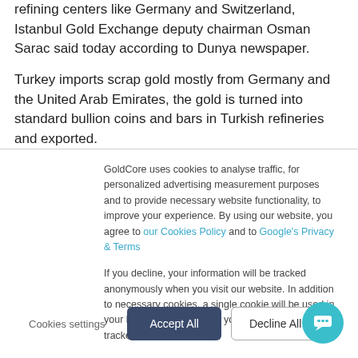refining centers like Germany and Switzerland, Istanbul Gold Exchange deputy chairman Osman Sarac said today according to Dunya newspaper.
Turkey imports scrap gold mostly from Germany and the United Arab Emirates, the gold is turned into standard bullion coins and bars in Turkish refineries and exported.
GoldCore uses cookies to analyse traffic, for personalized advertising measurement purposes and to provide necessary website functionality, to improve your experience. By using our website, you agree to our Cookies Policy and to Google's Privacy & Terms
If you decline, your information will be tracked anonymously when you visit our website. In addition to necessary cookies, a single cookie will be used in your browser to remember your preference not to be tracked.
Cookies settings
Accept All
Decline All